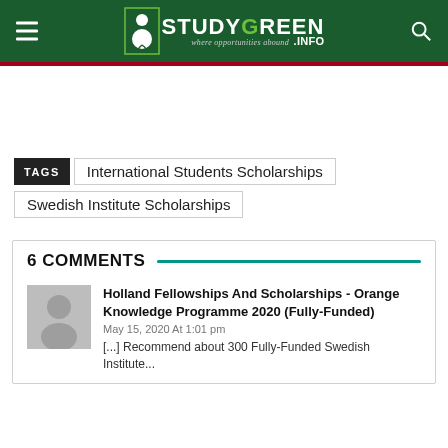[Figure (logo): StudyGreen.info logo with figure icon on dark green header background with hamburger menu and search icon]
TAGS  International Students Scholarships  Swedish Institute Scholarships
6 COMMENTS
[Figure (illustration): Default user avatar placeholder (grey silhouette on grey background)]
Holland Fellowships And Scholarships - Orange Knowledge Programme 2020 (Fully-Funded)
May 15, 2020 At 1:01 pm
[...] Recommend about 300 Fully-Funded Swedish Institute...